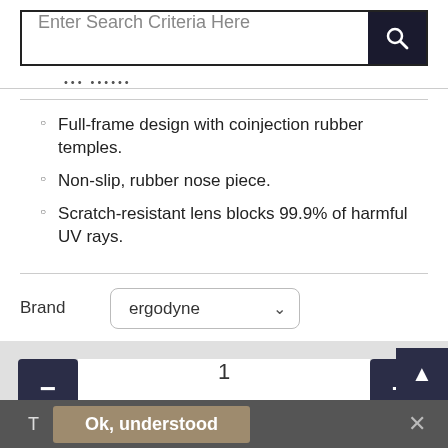[Figure (screenshot): Search bar with text input field showing placeholder 'Enter Search Criteria Here' and a dark search button with magnifying glass icon]
...
Full-frame design with coinjection rubber temples.
Non-slip, rubber nose piece.
Scratch-resistant lens blocks 99.9% of harmful UV rays.
Brand  ergodyne
[Figure (screenshot): Quantity selector with minus button, field showing '1', and plus button, plus 'Add to Cart' button below]
T  Ok, understood  ×